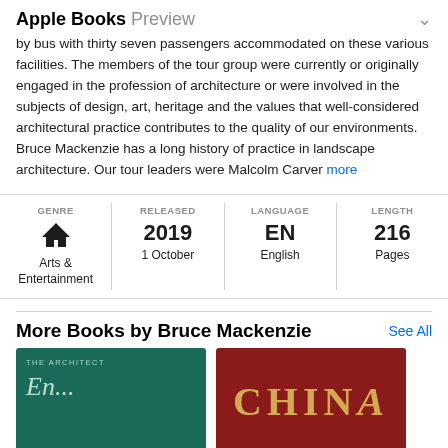Apple Books Preview
by bus with thirty seven passengers accommodated on these various facilities. The members of the tour group were currently or originally engaged in the profession of architecture or were involved in the subjects of design, art, heritage and the values that well-considered architectural practice contributes to the quality of our environments. Bruce Mackenzie has a long history of practice in landscape architecture. Our tour leaders were Malcolm Carver more
| GENRE | RELEASED | LANGUAGE | LENGTH |
| --- | --- | --- | --- |
| Arts & Entertainment | 2019 1 October | EN English | 216 Pages |
More Books by Bruce Mackenzie
[Figure (photo): Two book covers: left is a teal/green book titled 'THE ARCHITECT' with italic text below; right is a dark red book with 'CHINA' in large gold letters]